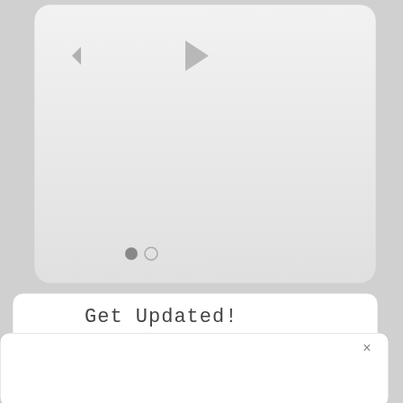[Figure (screenshot): A rounded rectangle UI panel with a light gray gradient background, a back arrow icon on the upper left, a play button triangle icon in the upper center, and two pagination dots (filled and empty) at the bottom center.]
[Figure (screenshot): A rounded rectangle white card with the text 'Get Updated!' in a monospace/tech font, partially overlaid by a white popup/modal panel with an X close button in the upper right corner.]